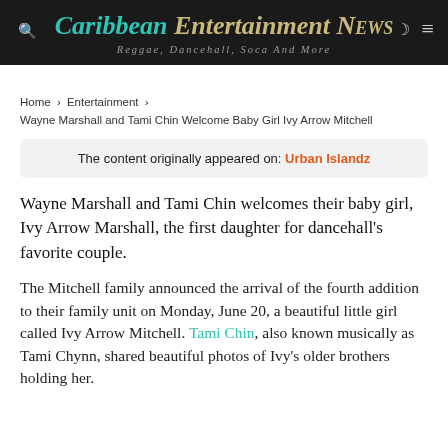Caribbean Entertainment News — Reggae, Dancehall, Soca And More
Home › Entertainment › Wayne Marshall and Tami Chin Welcome Baby Girl Ivy Arrow Mitchell
The content originally appeared on: Urban Islandz
Wayne Marshall and Tami Chin welcomes their baby girl, Ivy Arrow Marshall, the first daughter for dancehall's favorite couple.
The Mitchell family announced the arrival of the fourth addition to their family unit on Monday, June 20, a beautiful little girl called Ivy Arrow Mitchell. Tami Chin, also known musically as Tami Chynn, shared beautiful photos of Ivy's older brothers holding her.